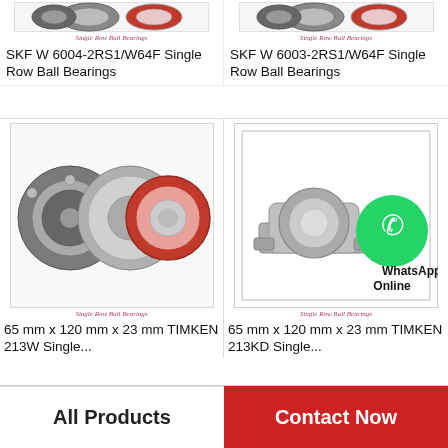[Figure (photo): SKF W 6004-2RS1/W64F Single Row Ball Bearings product image with caption 'Single Row Ball Bearings']
SKF W 6004-2RS1/W64F Single Row Ball Bearings
[Figure (photo): SKF W 6003-2RS1/W64F Single Row Ball Bearings product image with caption 'Single Row Ball Bearings']
SKF W 6003-2RS1/W64F Single Row Ball Bearings
[Figure (photo): 65 mm x 120 mm x 23 mm TIMKEN 213W Single Row Ball Bearings product image with caption 'Single Row Ball Bearings']
65 mm x 120 mm x 23 mm TIMKEN 213W Single...
[Figure (photo): 65 mm x 120 mm x 23 mm TIMKEN 213KD Single Row Ball Bearings product image with WhatsApp Online overlay and caption 'Single Row Ball Bearings']
65 mm x 120 mm x 23 mm TIMKEN 213KD Single...
All Products
Contact Now